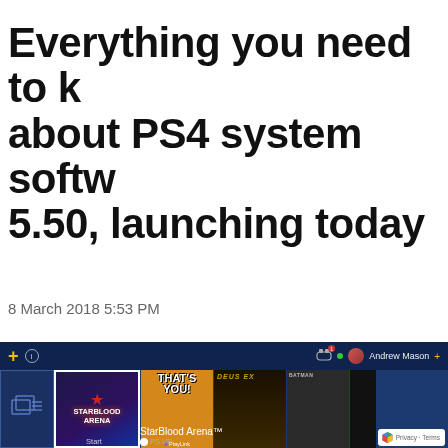Everything you need to know about PS4 system software 5.50, launching today
8 March 2018 5:53 PM
[Figure (screenshot): PS4 system software 5.50 home screen showing Starblood Arena selected, with That's You!, Deus Ex, and other game thumbnails visible. User 'Andrew Mason' shown in top-right. Start button visible below Starblood Arena. StarBlood Arena title and PS VR label at bottom. Privacy · Terms badge in bottom-right corner.]